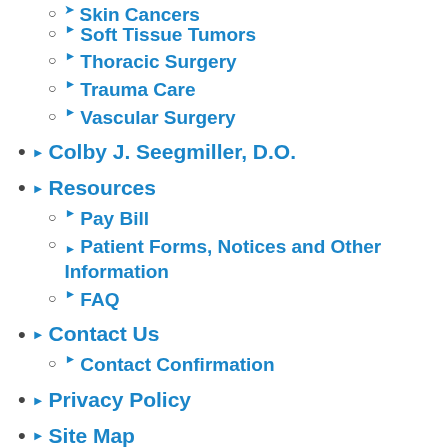Skin Cancers
Soft Tissue Tumors
Thoracic Surgery
Trauma Care
Vascular Surgery
Colby J. Seegmiller, D.O.
Resources
Pay Bill
Patient Forms, Notices and Other Information
FAQ
Contact Us
Contact Confirmation
Privacy Policy
Site Map